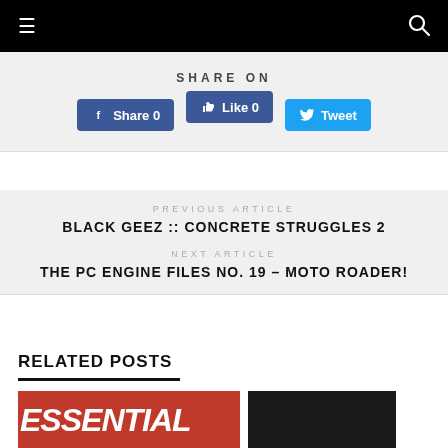≡  [search icon]
SHARE ON
Share 0  Like 0  Tweet
PREVIOUS ARTICLE
BLACK GEEZ :: CONCRETE STRUGGLES 2
NEXT ARTICLE
THE PC ENGINE FILES NO. 19 – MOTO ROADER!
RELATED POSTS
[Figure (photo): Two image thumbnails for related posts — left shows partial text 'ESSENTIAL' in white on red background, right shows a dark image]
[Figure (photo): Dark thumbnail on the right]